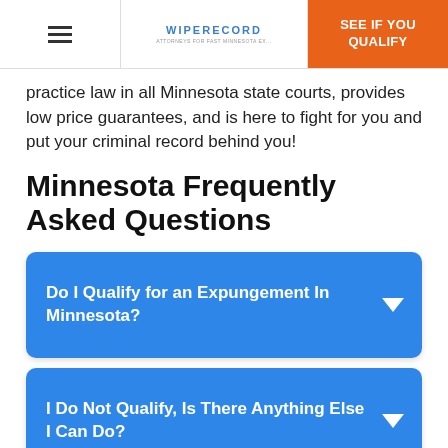WIPERECORD | SEE IF YOU QUALIFY
practice law in all Minnesota state courts, provides low price guarantees, and is here to fight for you and put your criminal record behind you!
Minnesota Frequently Asked Questions
Do I Qualify for an Expungement In Minnesota?
I Do Not Qualify, Is There Anything Else I Can Do?